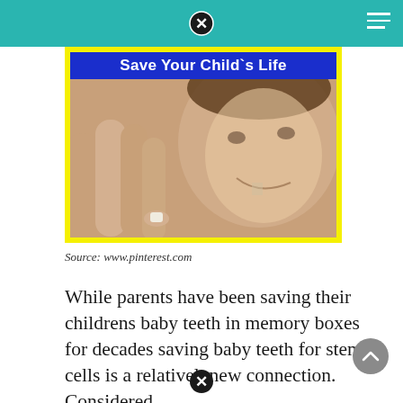[Figure (photo): A child smiling with a missing tooth while an adult hand holds up a small baby tooth in the foreground. Blue banner at top reads 'Save Your Child`s Life'.]
Source: www.pinterest.com
While parents have been saving their childrens baby teeth in memory boxes for decades saving baby teeth for stem cells is a relativelynew connection. Considered...